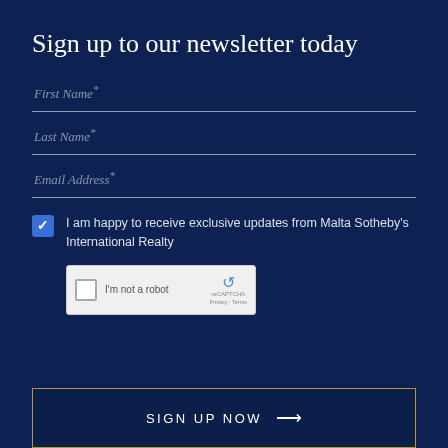Sign up to our newsletter today
First Name *
Last Name *
Email Address *
I am happy to receive exclusive updates from Malta Sotheby's International Realty
[Figure (other): reCAPTCHA widget with checkbox labeled 'I'm not a robot']
SIGN UP NOW →